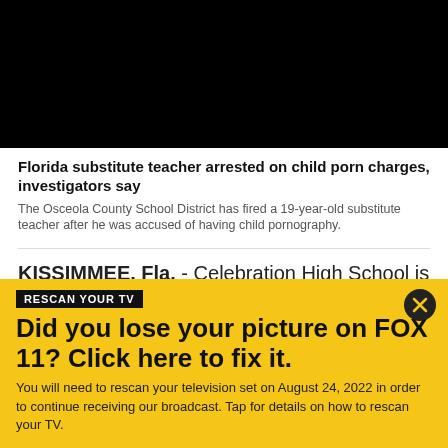[Figure (photo): Black rectangle representing a video thumbnail or image placeholder at the top of the page]
Florida substitute teacher arrested on child porn charges, investigators say
The Osceola County School District has fired a 19-year-old substitute teacher after he was accused of having child pornography.
KISSIMMEE, Fla. - Celebration High School is one of the schools where Joshua Trychta was a substitute teacher. Investigators say he was trading child porn
RESCAN YOUR TV
Did you lose your picture on FOX 11? Click here to fix it.
You will need to rescan your television set on August 24, 2022 in order to continue receiving our broadcast. Tap for details on how to rescan your TV.